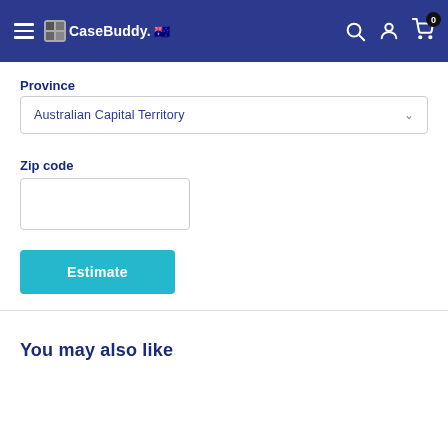CaseBuddy
Province
Australian Capital Territory
Zip code
Estimate
You may also like